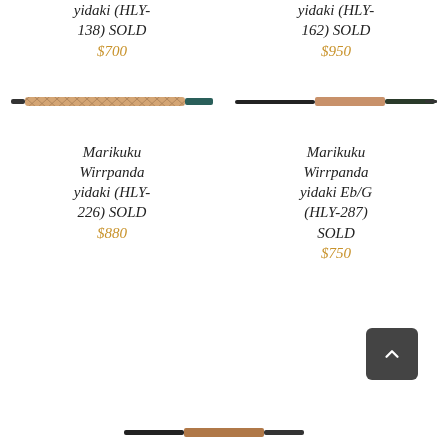yidaki (HLY-138) SOLD
$700
yidaki (HLY-162) SOLD
$950
[Figure (photo): A didgeridoo instrument with patterned/decorated body and dark mouthpiece end, shown horizontally]
[Figure (photo): A didgeridoo instrument with natural wood body and dark ends, shown horizontally]
Marikuku Wirrpanda yidaki (HLY-226) SOLD
$880
Marikuku Wirrpanda yidaki Eb/G (HLY-287) SOLD
$750
[Figure (photo): Partial view of a didgeridoo instrument at bottom of page]